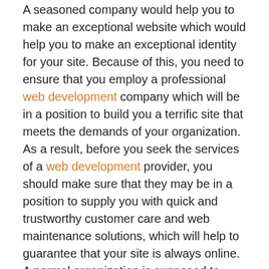A seasoned company would help you to make an exceptional website which would help you to make an exceptional identity for your site. Because of this, you need to ensure that you employ a professional web development company which will be in a position to build you a terrific site that meets the demands of your organization. As a result, before you seek the services of a web development provider, you should make sure that they may be in a position to supply you with quick and trustworthy customer care and web maintenance solutions, which will help to guarantee that your site is always online. A normal organization is supposed to provide extra services like social media networking, back link building and similar search engine optimisation services together with content development and advertising for your company. Any website development company will supply you feedback throughout your company relationship.
A company ought to have no problem walking you through examples of sites they've built before. In this instance, you